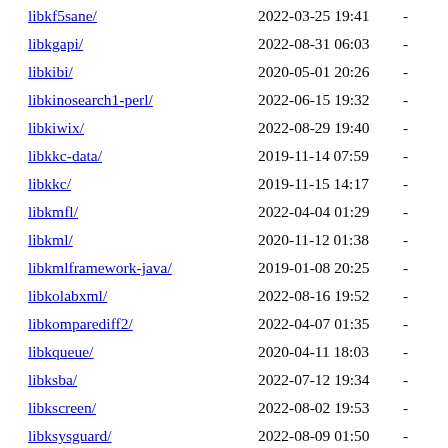libkf5sane/ 2022-03-25 19:41 -
libkgapi/ 2022-08-31 06:03 -
libkibi/ 2020-05-01 20:26 -
libkinosearch1-perl/ 2022-06-15 19:32 -
libkiwix/ 2022-08-29 19:40 -
libkkc-data/ 2019-11-14 07:59 -
libkkc/ 2019-11-15 14:17 -
libkmfl/ 2022-04-04 01:29 -
libkml/ 2020-11-12 01:38 -
libkmlframework-java/ 2019-01-08 20:25 -
libkolabxml/ 2022-08-16 19:52 -
libkomparediff2/ 2022-04-07 01:35 -
libkqueue/ 2020-04-11 18:03 -
libksba/ 2022-07-12 19:34 -
libkscreen/ 2022-08-02 19:53 -
libksysguard/ 2022-08-09 01:50 -
libktoblzcheck/ 2022-04-15 19:44 -
libktorrent/ 2021-10-20 13:11 -
Apache Server at ftp.ports.debian.org Port 80